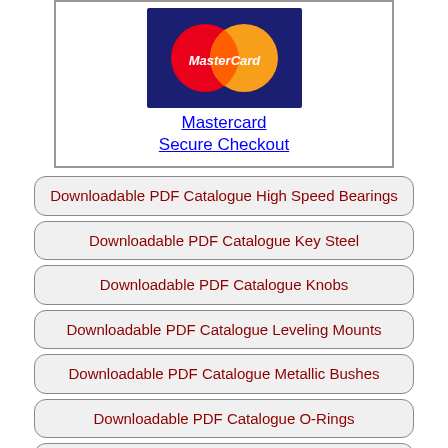[Figure (logo): MasterCard logo — red and orange overlapping circles with 'MasterCard' text on a navy blue rectangular background]
Mastercard Secure Checkout
Downloadable PDF Catalogue High Speed Bearings
Downloadable PDF Catalogue Key Steel
Downloadable PDF Catalogue Knobs
Downloadable PDF Catalogue Leveling Mounts
Downloadable PDF Catalogue Metallic Bushes
Downloadable PDF Catalogue O-Rings
Downloadable PDF Catalogue Pins
Downloadable PDF Catalogue Plastic